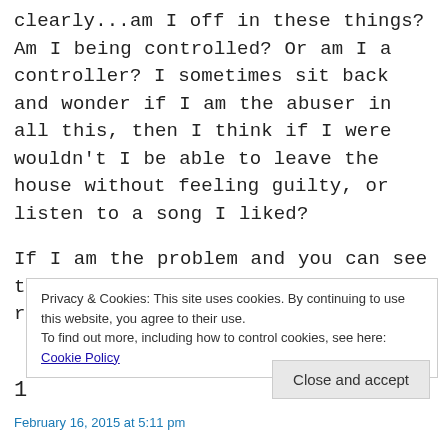clearly...am I off in these things? Am I being controlled? Or am I a controller? I sometimes sit back and wonder if I am the abuser in all this, then I think if I were wouldn't I be able to leave the house without feeling guilty, or listen to a song I liked?
If I am the problem and you can see that in this I want to know, I really do.
Privacy & Cookies: This site uses cookies. By continuing to use this website, you agree to their use.
To find out more, including how to control cookies, see here: Cookie Policy
1
February 16, 2015 at 5:11 pm